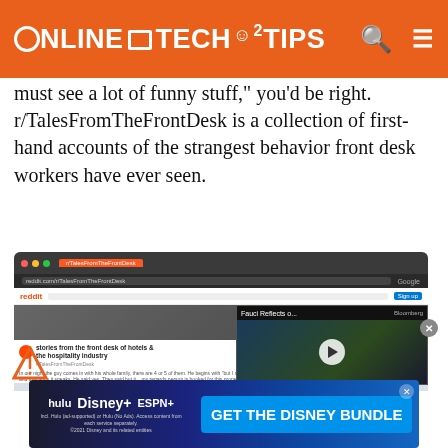ONLINE TECH TIPS
must see a lot of funny stuff," you'd be right. r/TalesFromTheFrontDesk is a collection of first-hand accounts of the strangest behavior front desk workers have ever seen.
[Figure (screenshot): Screenshot of a Reddit page showing r/TalesFromTheFrontDesk with a Bloomberg video overlay showing 'Fauci Reflects o...' with a play button, and an advertisement label at the bottom.]
[Figure (screenshot): Advertisement banner: GET THE DISNEY BUNDLE - hulu, Disney+, ESPN+. Incl. Hulu (ad-supported) or Hulu (No Ads). Access content from each service separately. ©2021 Disney and its related entities]